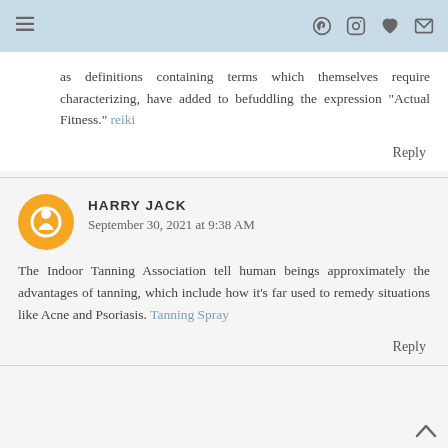Navigation bar with menu, Pinterest, Instagram, heart, and email icons
as definitions containing terms which themselves require characterizing, have added to befuddling the expression "Actual Fitness." reiki
Reply
HARRY JACK
September 30, 2021 at 9:38 AM
The Indoor Tanning Association tell human beings approximately the advantages of tanning, which include how it's far used to remedy situations like Acne and Psoriasis. Tanning Spray
Reply